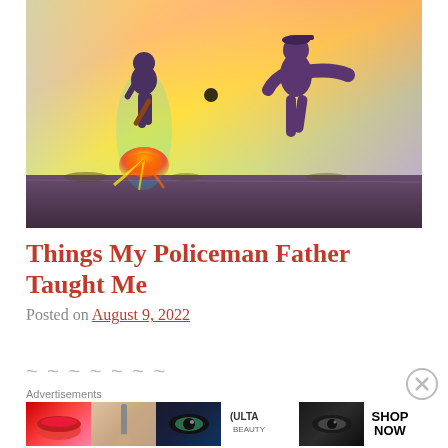[Figure (illustration): Colorful artistic illustration of two silhouetted figures — a child holding a baseball bat and an adult reaching out — playing catch against a vibrant rainbow-colored sky background]
Things My Policeman Father Taught Me
Posted on August 9, 2022
Advertisements
[Figure (photo): Advertisement banner featuring beauty/makeup imagery with ULTA Beauty branding and SHOP NOW call to action]